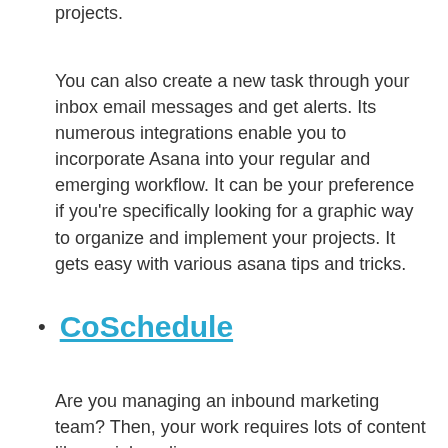projects.
You can also create a new task through your inbox email messages and get alerts. Its numerous integrations enable you to incorporate Asana into your regular and emerging workflow. It can be your preference if you’re specifically looking for a graphic way to organize and implement your projects. It gets easy with various asana tips and tricks.
CoSchedule
Are you managing an inbound marketing team? Then, your work requires lots of content like social media